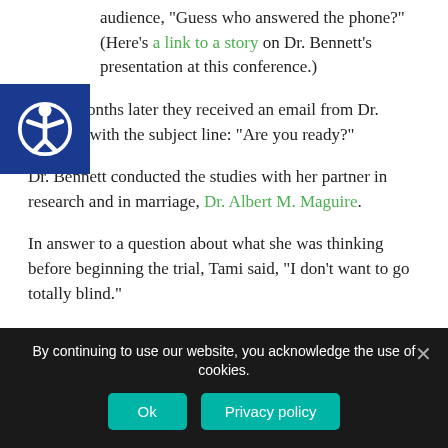audience, “Guess who answered the phone?” (Here’s a link to a story on Dr. Bennett’s presentation at this conference.)
Seven months later they received an email from Dr. Bennett, with the subject line: “Are you ready?”
Dr. Bennett conducted the studies with her partner in research and in marriage, Dr. Albert M. Maguire.
In answer to a question about what she was thinking before beginning the trial, Tami said, “I don’t want to go totally blind.”
By continuing to use our website, you acknowledge the use of cookies.